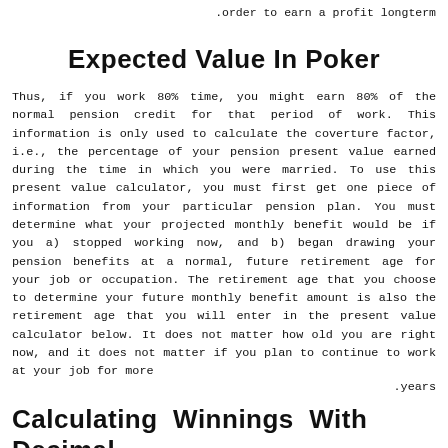.order to earn a profit longterm
Expected Value In Poker
Thus, if you work 80% time, you might earn 80% of the normal pension credit for that period of work. This information is only used to calculate the coverture factor, i.e., the percentage of your pension present value earned during the time in which you were married. To use this present value calculator, you must first get one piece of information from your particular pension plan. You must determine what your projected monthly benefit would be if you a) stopped working now, and b) began drawing your pension benefits at a normal, future retirement age for your job or occupation. The retirement age that you choose to determine your future monthly benefit amount is also the retirement age that you will enter in the present value calculator below. It does not matter how old you are right now, and it does not matter if you plan to continue to work at your job for more .years
Calculating Winnings With Decimal Odds